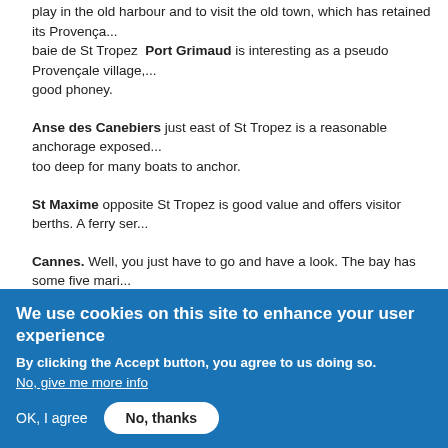play in the old harbour and to visit the old town, which has retained its Provença... baie de St Tropez. Port Grimaud is interesting as a pseudo Provençale village,... good phoney.
Anse des Canebiers just east of St Tropez is a reasonable anchorage exposed... too deep for many boats to anchor.
St Maxime opposite St Tropez is good value and offers visitor berths. A ferry ser...
Cannes. Well, you just have to go and have a look. The bay has some five mari... La Napoule, five miles west. In high season they will only give you one night ... for more nights and they will fit you in if possible. Reasonable shopping nearby a... weather:
We use cookies on this site to enhance your user experience
By clicking the Accept button, you agree to us doing so.
No, give me more info
OK, I agree   No, thanks